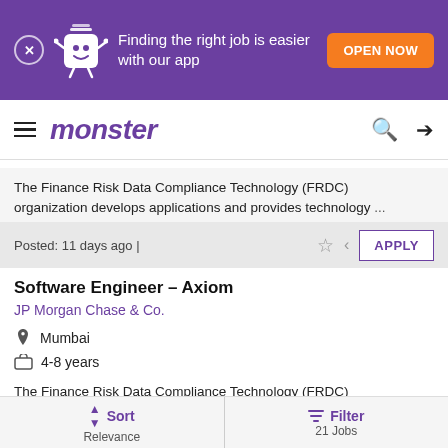[Figure (screenshot): Purple promotional banner with Monster.com mascot, text 'Finding the right job is easier with our app', and orange 'OPEN NOW' button]
[Figure (logo): Monster.com navigation bar with hamburger menu, 'monster' logo in purple italic, search icon and login icon]
The Finance Risk Data Compliance Technology (FRDC) organization develops applications and provides technology ...
Posted: 11 days ago |
Software Engineer – Axiom
JP Morgan Chase & Co.
Mumbai
4-8 years
The Finance Risk Data Compliance Technology (FRDC) organization develops applications and provides technology ...
Sort Relevance | Filter 21 Jobs